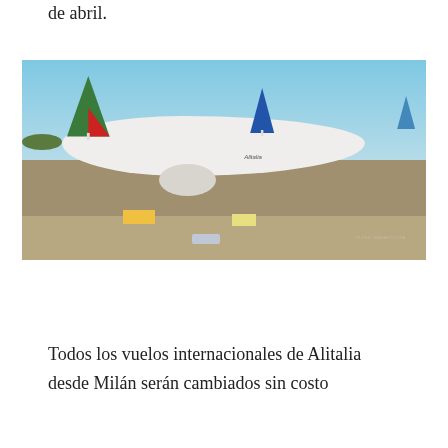de abril.
[Figure (photo): An Alitalia wide-body aircraft (likely Boeing 777) parked on the tarmac at an airport. The plane is white with the distinctive Alitalia green and red tail livery. Another aircraft with a blue tail is visible in the background. Ground service vehicles are parked around the plane. A car is visible in the foreground on the tarmac. Clear blue sky in the background.]
Todos los vuelos internacionales de Alitalia desde Milán serán cambiados sin costo